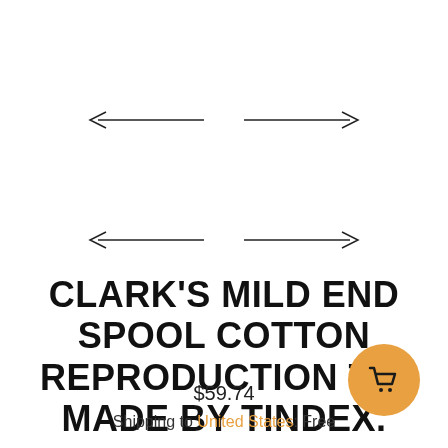[Figure (other): Left-pointing arrow navigation control (top)]
[Figure (other): Right-pointing arrow navigation control (top)]
[Figure (other): Left-pointing arrow navigation control (bottom)]
[Figure (other): Right-pointing arrow navigation control (bottom)]
CLARK'S MILD END SPOOL COTTON REPRODUCTION TIN MADE BY TINDEX.
$59.74
Shipping to United States: Free
[Figure (other): Orange circular shopping cart button]